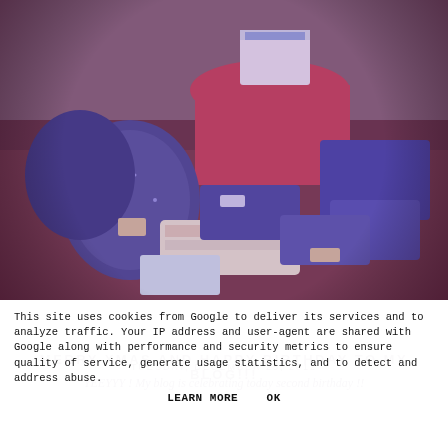[Figure (photo): A pile of wrapped birthday/Christmas gifts in blue and white wrapping paper on a red/purple floor, with a round table draped in red fabric in the background. The photo has a pinkish-purple tint.]
This site uses cookies from Google to deliver its services and to analyze traffic. Your IP address and user-agent are shared with Google along with performance and security metrics to ensure quality of service, generate usage statistics, and to detect and address abuse.
LEARN MORE    OK
MERRY XMAS AND HAPPY BIRTHDAY TO MY BLOG!!!
TUESDAY, DECEMBER 25, 2012
YEEYYY ! My blog is celebrating today second birthday !!